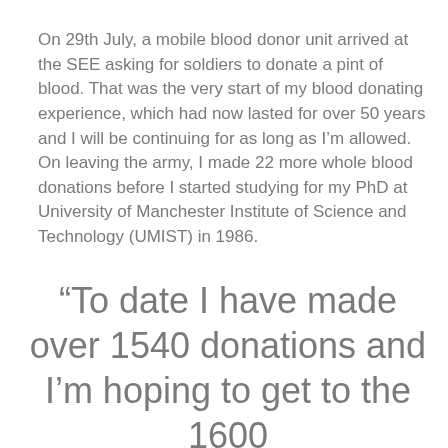On 29th July, a mobile blood donor unit arrived at the SEE asking for soldiers to donate a pint of blood. That was the very start of my blood donating experience, which had now lasted for over 50 years and I will be continuing for as long as I'm allowed.
On leaving the army, I made 22 more whole blood donations before I started studying for my PhD at University of Manchester Institute of Science and Technology (UMIST) in 1986.
“To date I have made over 1540 donations and I’m hoping to get to the 1600